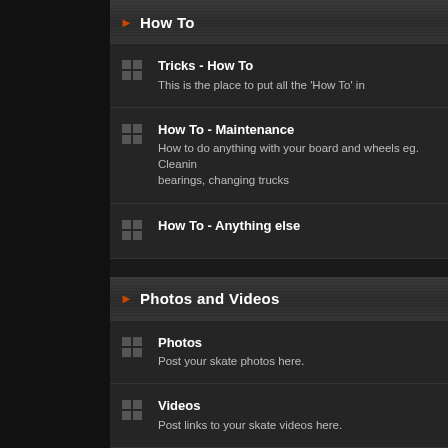How To
Tricks - How To
This is the place to put all the 'How To' in
How To - Maintenance
How to do anything with your board and wheels eg. Cleaning bearings, changing trucks
How To - Anything else
Photos and Videos
Photos
Post your skate photos here.
Videos
Post links to your skate videos here.